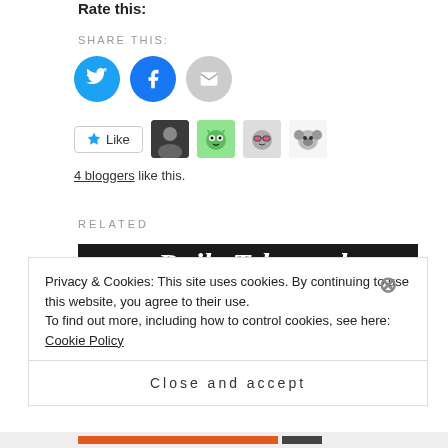Rate this:
SHARE THIS:
[Figure (infographic): Social share buttons: Twitter (blue circle), Facebook (blue circle), Email (grey circle)]
[Figure (infographic): Like button with star icon, followed by 4 blogger avatars]
4 bloggers like this.
RELATED
[Figure (photo): Daily Telegraph newspaper front page showing headline: Richetty grub stands in our Wallabies' way, with red block text RAISING TAXES IS NOT on the left side]
Privacy & Cookies: This site uses cookies. By continuing to use this website, you agree to their use.
To find out more, including how to control cookies, see here: Cookie Policy
Close and accept